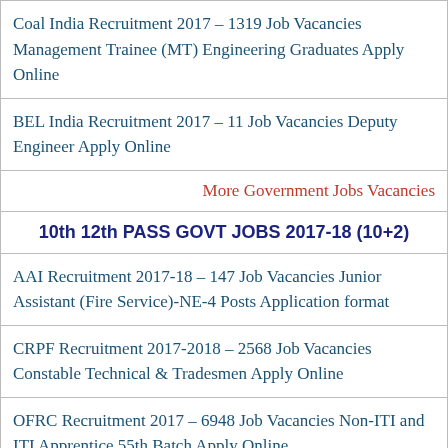Coal India Recruitment 2017 – 1319 Job Vacancies Management Trainee (MT) Engineering Graduates Apply Online
BEL India Recruitment 2017 – 11 Job Vacancies Deputy Engineer Apply Online
More Government Jobs Vacancies
10th 12th PASS GOVT JOBS 2017-18 (10+2)
AAI Recruitment 2017-18 – 147 Job Vacancies Junior Assistant (Fire Service)-NE-4 Posts Application format
CRPF Recruitment 2017-2018 – 2568 Job Vacancies Constable Technical & Tradesmen Apply Online
OFRC Recruitment 2017 – 6948 Job Vacancies Non-ITI and ITI Apprentice 55th Batch Apply Online